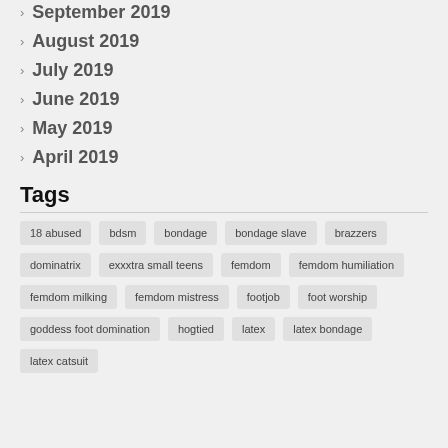September 2019
August 2019
July 2019
June 2019
May 2019
April 2019
Tags
18 abused
bdsm
bondage
bondage slave
brazzers
dominatrix
exxxtra small teens
femdom
femdom humiliation
femdom milking
femdom mistress
footjob
foot worship
goddess foot domination
hogtied
latex
latex bondage
latex catsuit